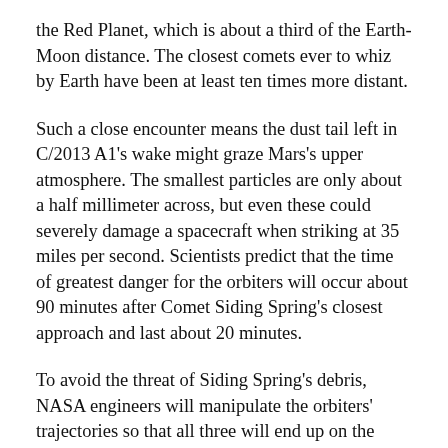the Red Planet, which is about a third of the Earth-Moon distance. The closest comets ever to whiz by Earth have been at least ten times more distant.
Such a close encounter means the dust tail left in C/2013 A1's wake might graze Mars's upper atmosphere. The smallest particles are only about a half millimeter across, but even these could severely damage a spacecraft when striking at 35 miles per second. Scientists predict that the time of greatest danger for the orbiters will occur about 90 minutes after Comet Siding Spring's closest approach and last about 20 minutes.
To avoid the threat of Siding Spring's debris, NASA engineers will manipulate the orbiters' trajectories so that all three will end up on the opposite side of the planet during the flyby. The MRO team executed one maneuver at the beginning of July, with another planned for the end of August. The Mars Odyssey team took similar steps on August 5th, and the MAVEN team will perform a precautionary maneuver shortly after the spacecraft enters